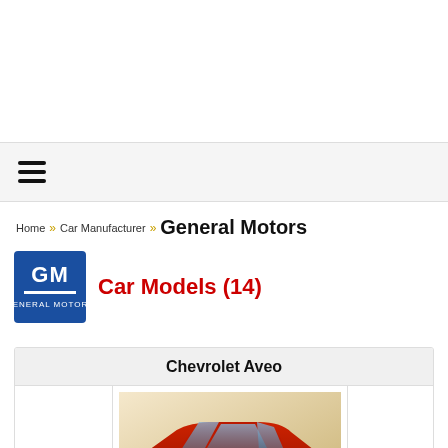Navigation bar with hamburger menu
Home » Car Manufacturer » General Motors
Car Models (14)
Chevrolet Aveo
[Figure (photo): Red Chevrolet Aveo sedan car image]